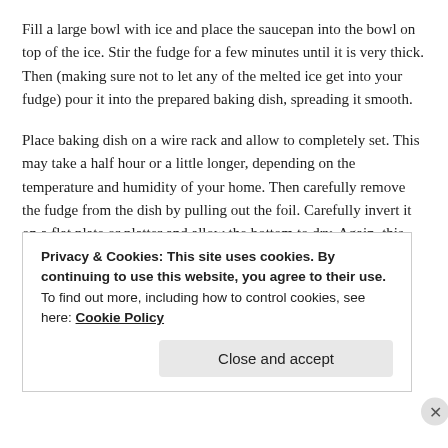Fill a large bowl with ice and place the saucepan into the bowl on top of the ice. Stir the fudge for a few minutes until it is very thick. Then (making sure not to let any of the melted ice get into your fudge) pour it into the prepared baking dish, spreading it smooth.
Place baking dish on a wire rack and allow to completely set. This may take a half hour or a little longer, depending on the temperature and humidity of your home. Then carefully remove the fudge from the dish by pulling out the foil. Carefully invert it on a flat plate or platter and allow the bottom to dry. Again, this may only take a few minutes.
Cut into squares or rectangles with a sharp knife and allow the
Privacy & Cookies: This site uses cookies. By continuing to use this website, you agree to their use.
To find out more, including how to control cookies, see here: Cookie Policy
Close and accept